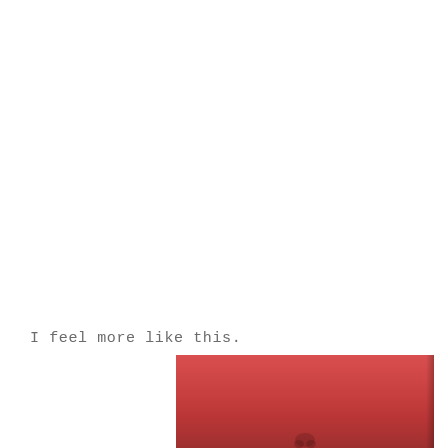I feel more like this.
[Figure (photo): Partial view of a person's face against a red/pink background, cropped to show only the lower portion of the face and nose area. The photo is positioned in the lower right of the page and is cut off at the bottom.]